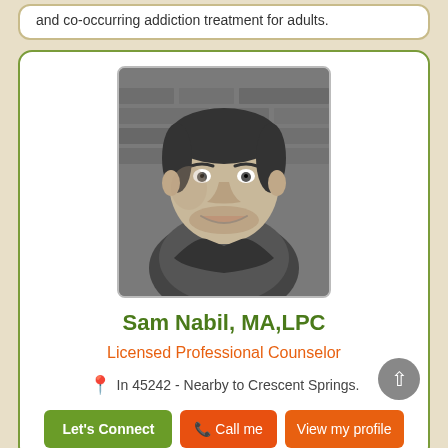and co-occurring addiction treatment for adults.
[Figure (photo): Black and white headshot photo of Sam Nabil, a man with short dark hair and beard, smiling, against a brick wall background]
Sam Nabil, MA,LPC
Licensed Professional Counselor
In 45242 - Nearby to Crescent Springs.
Let's Connect  Call me  View my profile